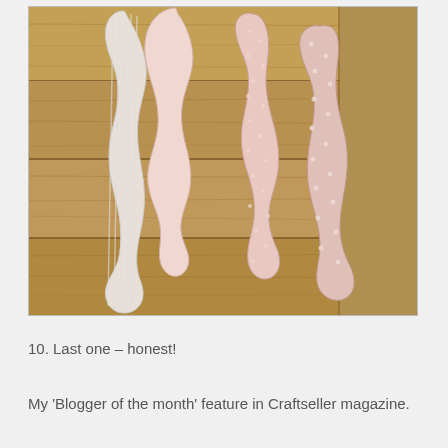[Figure (photo): Fabric cut-out pieces in the shape of doll arms and legs laid out on a wooden surface. The pieces are made of light pink/white fabrics, some with a subtle polka dot pattern.]
10. Last one – honest!
My 'Blogger of the month' feature in Craftseller magazine.